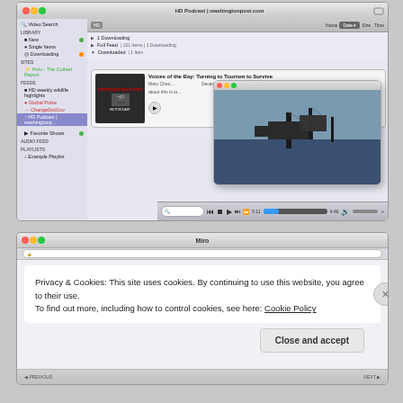[Figure (screenshot): macOS iTunes/podcast application showing 'HD Podcast | washingtonpost.com' with sidebar navigation, feed list showing downloading items, and a video popup showing a harbor/boats scene with text about 'Voices of the Bay: Turning to Tourism to Survive']
[Figure (screenshot): macOS browser window (Miro) showing a cookie consent popup with text: 'Privacy & Cookies: This site uses cookies. By continuing to use this website, you agree to their use. To find out more, including how to control cookies, see here: Cookie Policy' and a 'Close and accept' button]